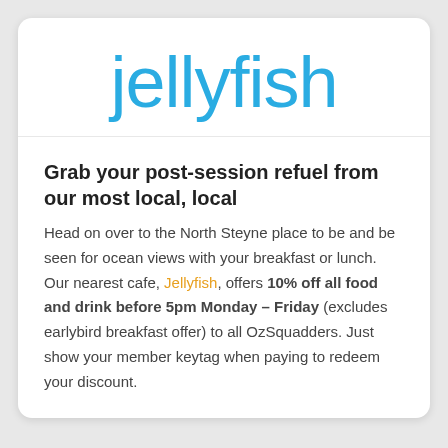[Figure (logo): Jellyfish logo in teal/blue color, large stylized lowercase text]
Grab your post-session refuel from our most local, local
Head on over to the North Steyne place to be and be seen for ocean views with your breakfast or lunch. Our nearest cafe, Jellyfish, offers 10% off all food and drink before 5pm Monday – Friday (excludes earlybird breakfast offer) to all OzSquadders. Just show your member keytag when paying to redeem your discount.